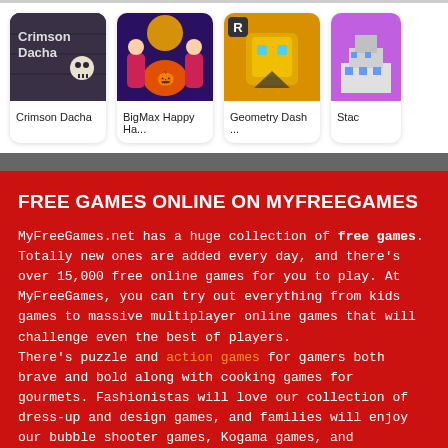[Figure (screenshot): Game card row showing Crimson Dacha, BigMax Happy Ha..., Geometry Dash ..., and Stac... game thumbnails with titles]
FREE GAMES ONLINE ON MYFREEGAMES
MyFreeGames.net has a huge collection of free games. Totally new ones are added every day, and there's over 15,000 free online games for you to play. At MyFreeGames, you can try out everything from kids games to massive multiplayer online games that will challenge even the best of players. There's puzzle and action games for gamers both brave and bold along with cooking games for gourmets. Fashionistas will love our collection of dress-up and design games, and families will enjoy our bubble shooter games, Kogama games, and Bejeweled games. If you